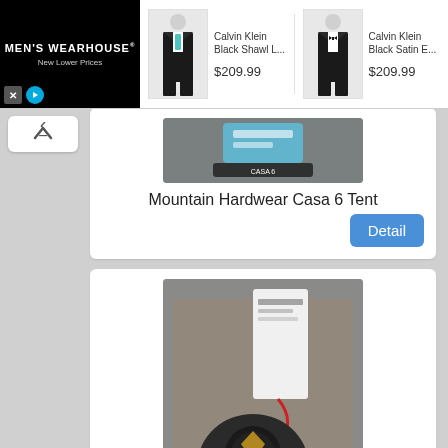[Figure (screenshot): Men's Wearhouse advertisement banner with logo and two Calvin Klein product listings]
[Figure (photo): Mountain Hardwear Casa 6 Tent product image (top, partially visible) showing blue tags and bag]
Mountain Hardwear Casa 6 Tent
[Figure (screenshot): Detail button for first product card]
[Figure (photo): Mountain Hardwear Casa 6 Tent product image (second listing) showing gear bag with tags in a box]
Mountain Hardwear Casa 6 Tent
[Figure (screenshot): Detail button for second product card]
[Figure (photo): Third product card image partially visible at bottom]